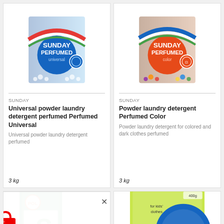[Figure (photo): Sunday Perfumed Universal laundry detergent powder box, blue with rainbow design]
SUNDAY
Universal powder laundry detergent perfumed Perfumed Universal
Universal powder laundry detergent perfumed
3 kg
[Figure (photo): Sunday Perfumed Color laundry detergent powder box, orange with rainbow design]
SUNDAY
Powder laundry detergent Perfumed Color
Powder laundry detergent for colored and dark clothes perfumed
3 kg
[Figure (photo): Sunday brand green box detergent product, partially visible]
[Figure (photo): Sunday brand yellow/green box detergent product for kids, partially visible]
[Figure (infographic): Online Shop modal popup with red shopping bag icon and X close button, text: ONLINE SHOP]